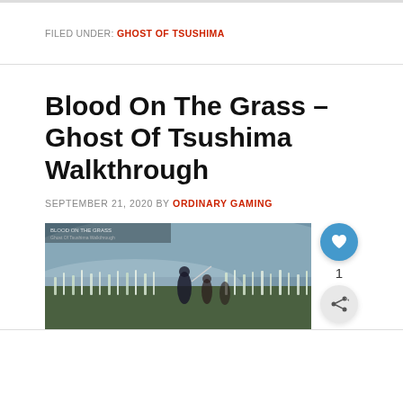FILED UNDER: GHOST OF TSUSHIMA
Blood On The Grass – Ghost Of Tsushima Walkthrough
SEPTEMBER 21, 2020 BY ORDINARY GAMING
[Figure (screenshot): Screenshot from Ghost of Tsushima game showing a battle scene in a field with misty atmosphere, character fighting enemies among tall white grass]